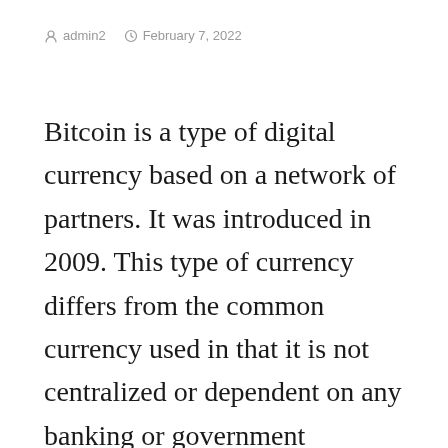admin2   February 7, 2022
Bitcoin is a type of digital currency based on a network of partners. It was introduced in 2009. This type of currency differs from the common currency used in that it is not centralized or dependent on any banking or government authority. However, Bitcoin has many advantages. For example, it has lower transaction fees than regular payment mechanisms. Let’s look at 4 benefits you can